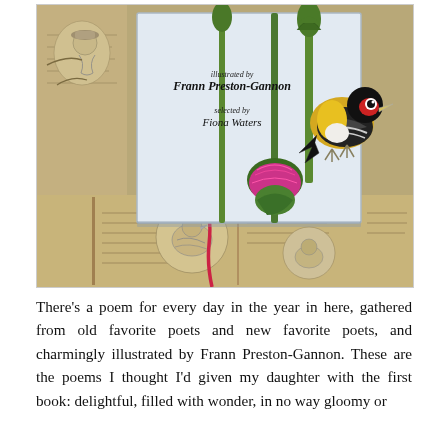[Figure (photo): A photograph of a poetry book with illustrated cover featuring a goldfinch perched on a thistle plant, illustrated by Frann Preston-Gannon and selected by Fiona Waters. The book is displayed on top of old open books with vintage illustrated pages visible underneath.]
There's a poem for every day in the year in here, gathered from old favorite poets and new favorite poets, and charmingly illustrated by Frann Preston-Gannon. These are the poems I thought I'd given my daughter with the first book: delightful, filled with wonder, in no way gloomy or